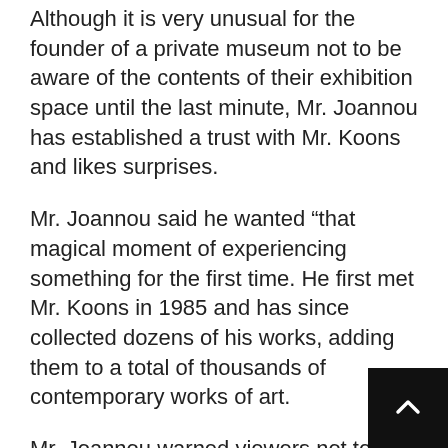Although it is very unusual for the founder of a private museum not to be aware of the contents of their exhibition space until the last minute, Mr. Joannou has established a trust with Mr. Koons and likes surprises.
Mr. Joannou said he wanted “that magical moment of experiencing something for the first time. He first met Mr. Koons in 1985 and has since collected dozens of his works, adding them to a total of thousands of contemporary works of art.
Mr. Joannou warned viewers not to stop at the eye-catching visual hook of Mr. Koon’s creations.
“They have layers,” he said. “The surface can be attractive, but you have to go further.”